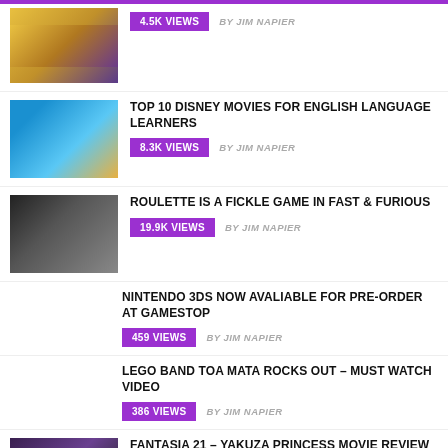4.5K VIEWS  BY JIM NAPIER
TOP 10 DISNEY MOVIES FOR ENGLISH LANGUAGE LEARNERS | 8.3K VIEWS  BY JIM NAPIER
ROULETTE IS A FICKLE GAME IN FAST & FURIOUS | 19.9K VIEWS  BY JIM NAPIER
NINTENDO 3DS NOW AVALIABLE FOR PRE-ORDER AT GAMESTOP | 459 VIEWS  BY JIM NAPIER
LEGO BAND TOA MATA ROCKS OUT – MUST WATCH VIDEO | 386 VIEWS  BY JIM NAPIER
FANTASIA 21 – YAKUZA PRINCESS MOVIE REVIEW | 2.6K VIEWS  BY JIM NAPIER